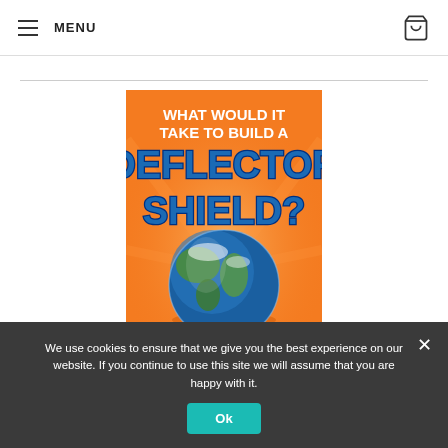MENU
[Figure (illustration): Book cover with orange background showing Earth globe. Title reads: WHAT WOULD IT TAKE TO BUILD A DEFLECTOR SHIELD?]
We use cookies to ensure that we give you the best experience on our website. If you continue to use this site we will assume that you are happy with it.